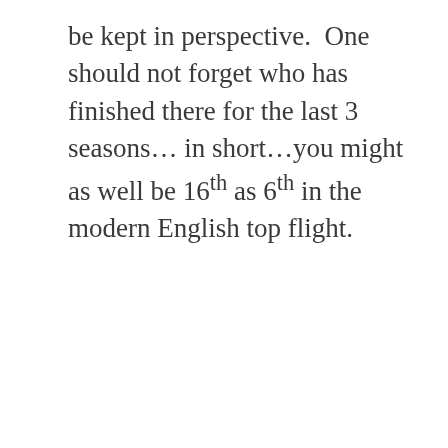be kept in perspective.  One should not forget who has finished there for the last 3 seasons… in short…you might as well be 16th as 6th in the modern English top flight.